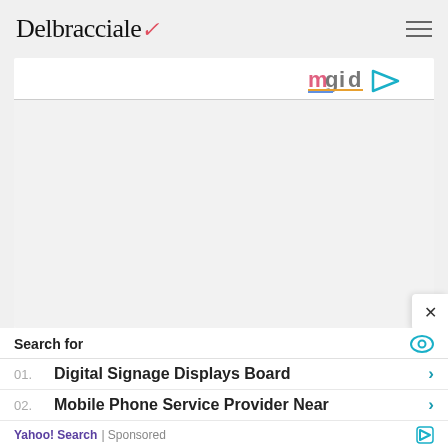Delbracciale
[Figure (logo): mgid logo with play button icon in top-right of content card]
[Figure (photo): Advertisement/content area placeholder]
15 Things You Can To Attract Your Exact Match
Herbeauty
Search for
01. Digital Signage Displays Board
02. Mobile Phone Service Provider Near
Yahoo! Search | Sponsored